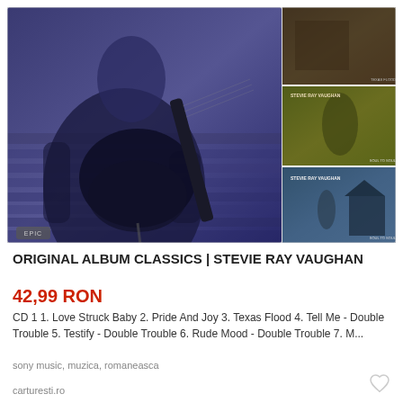[Figure (photo): Album cover photo for Original Album Classics by Stevie Ray Vaughan. Main large image shows a guitarist (blue-tinted) playing guitar with three smaller album cover thumbnails on the right side. An 'EPIC' badge is visible at the bottom left of the main image.]
ORIGINAL ALBUM CLASSICS | STEVIE RAY VAUGHAN
42,99 RON
CD 1 1. Love Struck Baby 2. Pride And Joy 3. Texas Flood 4. Tell Me - Double Trouble 5. Testify - Double Trouble 6. Rude Mood - Double Trouble 7. M...
sony music, muzica, romaneasca
carturesti.ro